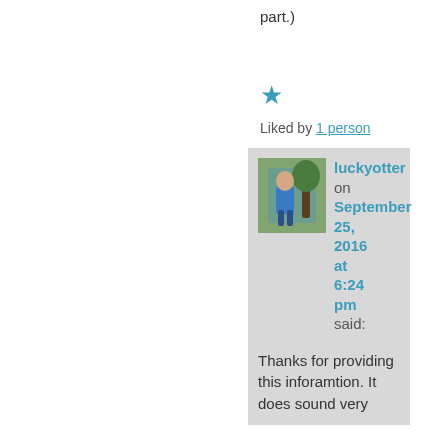part.)
[Figure (other): Blue star like icon]
Liked by 1 person
[Figure (photo): Avatar photo of luckyotter - woman in blue standing by a tree]
luckyotter on September 25, 2016 at 6:24 pm said:
Thanks for providing this inforamtion. It does sound very